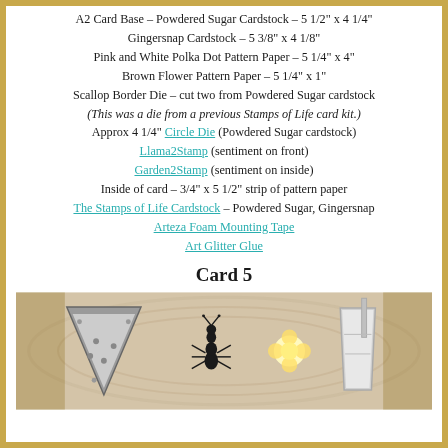A2 Card Base – Powdered Sugar Cardstock – 5 1/2" x 4 1/4"
Gingersnap Cardstock – 5 3/8" x 4 1/8"
Pink and White Polka Dot Pattern Paper – 5 1/4" x 4"
Brown Flower Pattern Paper – 5 1/4" x 1"
Scallop Border Die – cut two from Powdered Sugar cardstock
(This was a die from a previous Stamps of Life card kit.)
Approx 4 1/4" Circle Die (Powdered Sugar cardstock)
Llama2Stamp (sentiment on front)
Garden2Stamp (sentiment on inside)
Inside of card – 3/4" x 5 1/2" strip of pattern paper
The Stamps of Life Cardstock – Powdered Sugar, Gingersnap
Arteza Foam Mounting Tape
Art Glitter Glue
Card 5
[Figure (photo): Photo of crafting die cuts and embellishments on a wooden surface, including a triangular watermelon die cut, an ant silhouette, a flower, and a drink cup die cut.]